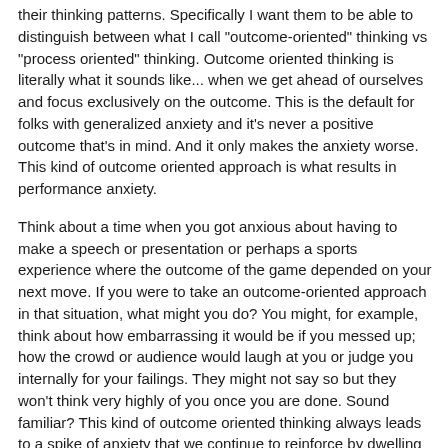their thinking patterns. Specifically I want them to be able to distinguish between what I call "outcome-oriented" thinking vs "process oriented" thinking. Outcome oriented thinking is literally what it sounds like... when we get ahead of ourselves and focus exclusively on the outcome. This is the default for folks with generalized anxiety and it's never a positive outcome that's in mind. And it only makes the anxiety worse. This kind of outcome oriented approach is what results in performance anxiety.
Think about a time when you got anxious about having to make a speech or presentation or perhaps a sports experience where the outcome of the game depended on your next move. If you were to take an outcome-oriented approach in that situation, what might you do? You might, for example, think about how embarrassing it would be if you messed up; how the crowd or audience would laugh at you or judge you internally for your failings. They might not say so but they won't think very highly of you once you are done. Sound familiar? This kind of outcome oriented thinking always leads to a spike of anxiety that we continue to reinforce by dwelling on the outcome.
Process oriented thinking, on the other hand, focuses more on the minute-to-minute process of completing the task, rather than jumping the shark and going right to the outcome. Rather than focusing on what the audience thinks, an individual with a process-oriented approach would be thinking about the